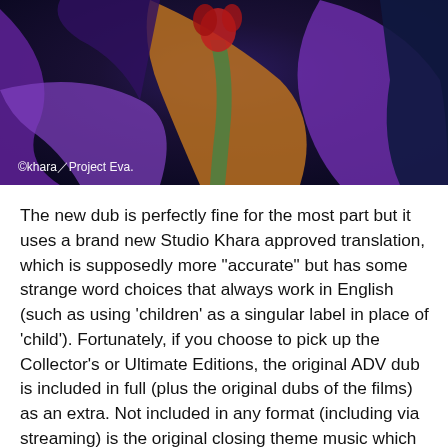[Figure (illustration): Animated screenshot from Evangelion showing abstract colorful organic shapes in purple, orange, green, and dark blue tones. Watermark reads: ©khara／Project Eva.]
The new dub is perfectly fine for the most part but it uses a brand new Studio Khara approved translation, which is supposedly more "accurate" but has some strange word choices that always work in English (such as using 'children' as a singular label in place of 'child'). Fortunately, if you choose to pick up the Collector's or Ultimate Editions, the original ADV dub is included in full (plus the original dubs of the films) as an extra. Not included in any format (including via streaming) is the original closing theme music which was a cover of the crooner-classic Fly Me To The Moon sung by several of the original Japanese VAs. To be honest, you're not missing much, but it's a shame it's missing for nostaligia's sake if nothing else. Original opening theme Cruel Angel Thesis is fortunately present and